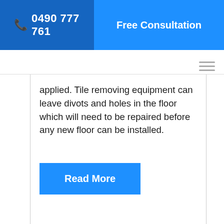📞 0490 777 761   Free Consultation
applied. Tile removing equipment can leave divots and holes in the floor which will need to be repaired before any new floor can be installed.
Read More